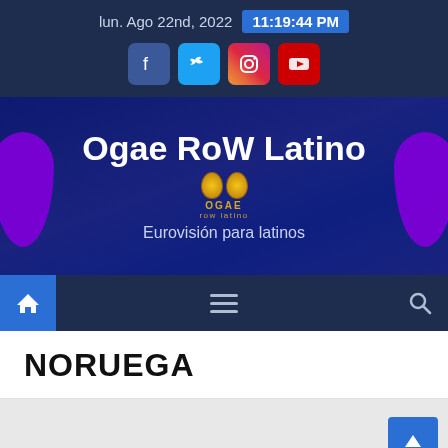lun. Ago 22nd, 2022  11:19:44 PM
[Figure (screenshot): Social media icons: Facebook, Twitter, Instagram, YouTube]
Ogae RoW Latino
Eurovisión para latinos
[Figure (screenshot): Navigation bar with home icon, hamburger menu, and search icon]
NORUEGA
[Figure (screenshot): Gray content area with back-to-top button and white card at bottom]